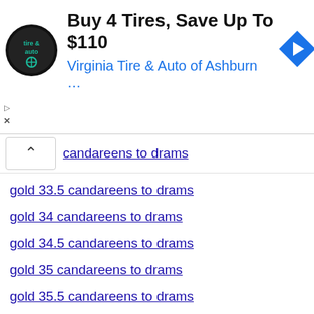[Figure (other): Advertisement banner: Virginia Tire & Auto logo (circular black logo), text 'Buy 4 Tires, Save Up To $110' in bold black, 'Virginia Tire & Auto of Ashburn …' in blue, blue diamond navigation arrow icon on right]
candareens to drams
gold 33.5 candareens to drams
gold 34 candareens to drams
gold 34.5 candareens to drams
gold 35 candareens to drams
gold 35.5 candareens to drams
gold 36 candareens to drams
gold 36.5 candareens to drams
gold 37 candareens to drams
gold 37.5 candareens to drams